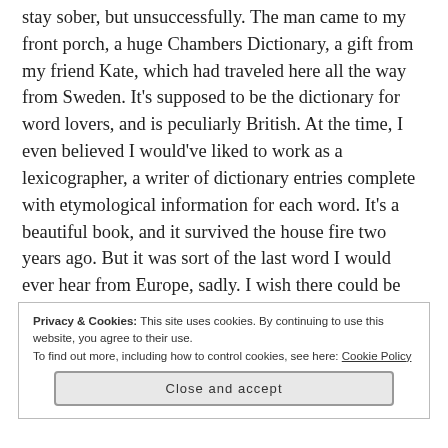stay sober, but unsuccessfully. The man came to my front porch, a huge Chambers Dictionary, a gift from my friend Kate, which had traveled here all the way from Sweden. It’s supposed to be the dictionary for word lovers, and is peculiarly British. At the time, I even believed I would’ve liked to work as a lexicographer, a writer of dictionary entries complete with etymological information for each word. It’s a beautiful book, and it survived the house fire two years ago. But it was sort of the last word I would ever hear from Europe, sadly. I wish there could be more commerce with the Old World.
Privacy & Cookies: This site uses cookies. By continuing to use this website, you agree to their use.
To find out more, including how to control cookies, see here: Cookie Policy
Close and accept